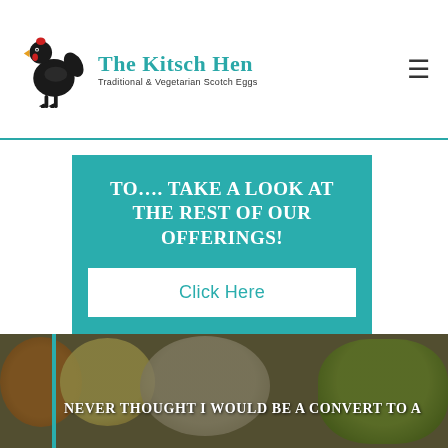The Kitsch Hen — Traditional & Vegetarian Scotch Eggs
TO.... TAKE A LOOK AT THE REST OF OUR OFFERINGS!
Click Here
[Figure (photo): Background food photo showing scotch eggs and produce with a dark overlay]
Never thought I would be a convert to a